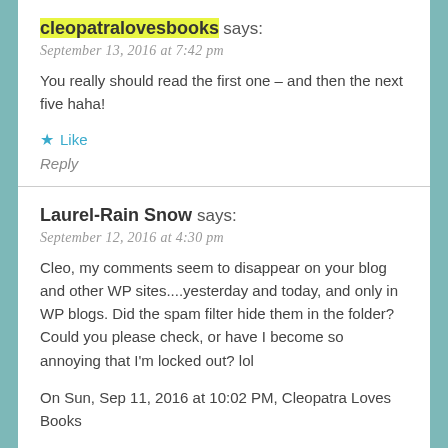cleopatralovesbooks says:
September 13, 2016 at 7:42 pm
You really should read the first one – and then the next five haha!
★ Like
Reply
Laurel-Rain Snow says:
September 12, 2016 at 4:30 pm
Cleo, my comments seem to disappear on your blog and other WP sites....yesterday and today, and only in WP blogs. Did the spam filter hide them in the folder? Could you please check, or have I become so annoying that I'm locked out? lol
On Sun, Sep 11, 2016 at 10:02 PM, Cleopatra Loves Books